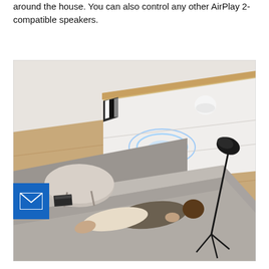...through AirPlay 2, so you can play your music all around the house. You can also control any other AirPlay 2-compatible speakers.
[Figure (photo): Aerial/top-down view of a modern living room with a person lying on a gray sofa, a white media console with a HomePod mini speaker on top (glowing blue light), a round coffee table, books, and a black floor lamp with tripod legs. A blue email notification icon overlay appears on the left side.]